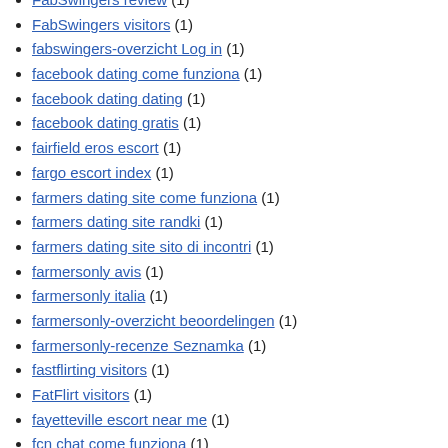FabSwingers review (1)
FabSwingers visitors (1)
fabswingers-overzicht Log in (1)
facebook dating come funziona (1)
facebook dating dating (1)
facebook dating gratis (1)
fairfield eros escort (1)
fargo escort index (1)
farmers dating site come funziona (1)
farmers dating site randki (1)
farmers dating site sito di incontri (1)
farmersonly avis (1)
farmersonly italia (1)
farmersonly-overzicht beoordelingen (1)
farmersonly-recenze Seznamka (1)
fastflirting visitors (1)
FatFlirt visitors (1)
fayetteville escort near me (1)
fcn chat come funziona (1)
fcn chat como funciona (1)
fcn chat sito di incontri (1)
fdating gratis (1)
fdating web (1)
feabie como funciona (2)
feabie sito di incontri (1)
feabie.com review (1)